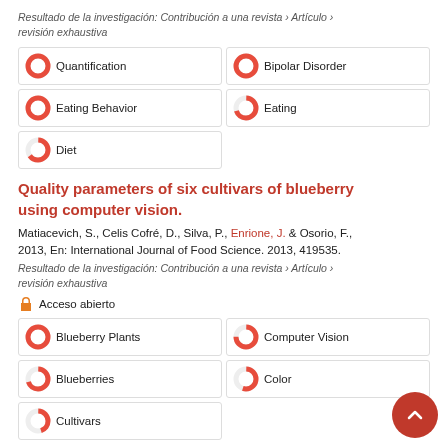Resultado de la investigación: Contribución a una revista › Artículo › revisión exhaustiva
Quantification 100%
Bipolar Disorder 100%
Eating Behavior 100%
Eating 70%
Diet 65%
Quality parameters of six cultivars of blueberry using computer vision.
Matiacevich, S., Celis Cofré, D., Silva, P., Enrione, J. & Osorio, F., 2013, En: International Journal of Food Science. 2013, 419535.
Resultado de la investigación: Contribución a una revista › Artículo › revisión exhaustiva
Acceso abierto
Blueberry Plants 100%
Computer Vision 75%
Blueberries 70%
Color 55%
Cultivars 45%